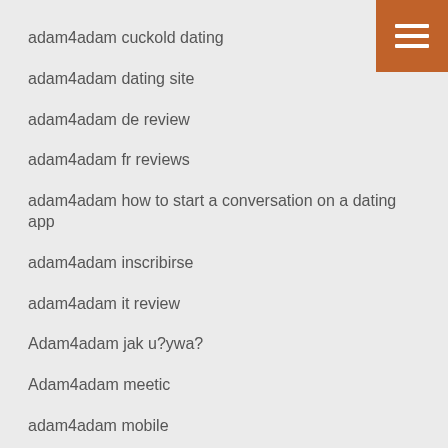[Figure (other): Hamburger menu button icon in brown/orange square, top right corner]
adam4adam cuckold dating
adam4adam dating site
adam4adam de review
adam4adam fr reviews
adam4adam how to start a conversation on a dating app
adam4adam inscribirse
adam4adam it review
Adam4adam jak u?ywa?
Adam4adam meetic
adam4adam mobile
adam4adam most popular dating apps
adam4adam native american dating
Adam4Adam review